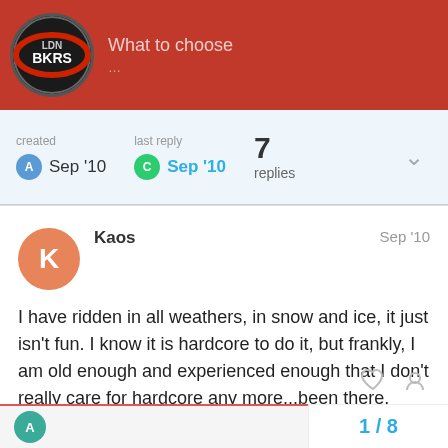LDNBKRS — What to choose
created Sep '10   last reply Sep '10   7 replies
Kaos   Sep '10

I have ridden in all weathers, in snow and ice, it just isn't fun. I know it is hardcore to do it, but frankly, I am old enough and experienced enough that I don't really care for hardcore any more...been there, done that.

if I can get a cage for winter, I will be using it, I think I have lined up a nice 58 reg mondeo for driving around in winter. Perfick.
1 / 8